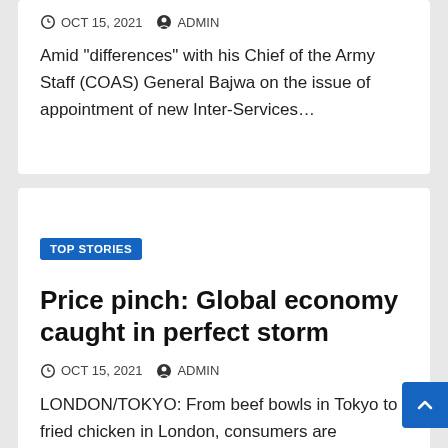OCT 15, 2021  ADMIN
Amid "differences" with his Chief of the Army Staff (COAS) General Bajwa on the issue of appointment of new Inter-Services…
TOP STORIES
Price pinch: Global economy caught in perfect storm
OCT 15, 2021  ADMIN
LONDON/TOKYO: From beef bowls in Tokyo to fried chicken in London, consumers are beginning to feel